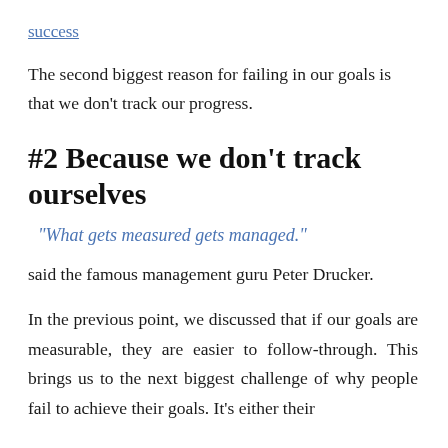success
The second biggest reason for failing in our goals is that we don't track our progress.
#2 Because we don't track ourselves
“What gets measured gets managed.”
said the famous management guru Peter Drucker.
In the previous point, we discussed that if our goals are measurable, they are easier to follow-through. This brings us to the next biggest challenge of why people fail to achieve their goals. It’s either their